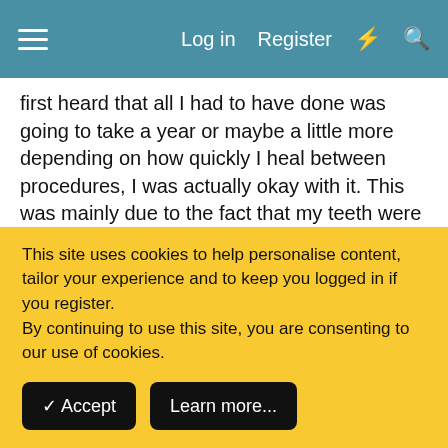Log in  Register
first heard that all I had to have done was going to take a year or maybe a little more depending on how quickly I heal between procedures, I was actually okay with it. This was mainly due to the fact that my teeth were failing and I was very uncomfortable and just plain miserable. I had been to two dentists who said they wouldn't or couldn't help me so I was so grateful to find one that finally would, I was willing to do whatever it took. Here I am now 6 months in and I'm about to have my second procedure, and I'm a little frustrated. It has not been at all easy to be on a very limited diet for the past 6 months, and now with a new surgery I will be back on a even more limited diet for a month or so before I heal enough to eat what I'm eating now
This site uses cookies to help personalise content, tailor your experience and to keep you logged in if you register.
By continuing to use this site, you are consenting to our use of cookies.